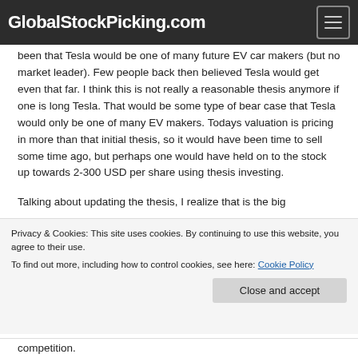GlobalStockPicking.com
been that Tesla would be one of many future EV car makers (but no market leader). Few people back then believed Tesla would get even that far. I think this is not really a reasonable thesis anymore if one is long Tesla. That would be some type of bear case that Tesla would only be one of many EV makers. Todays valuation is pricing in more than that initial thesis, so it would have been time to sell some time ago, but perhaps one would have held on to the stock up towards 2-300 USD per share using thesis investing.
Talking about updating the thesis, I realize that is the big
Privacy & Cookies: This site uses cookies. By continuing to use this website, you agree to their use.
To find out more, including how to control cookies, see here: Cookie Policy
Close and accept
competition.